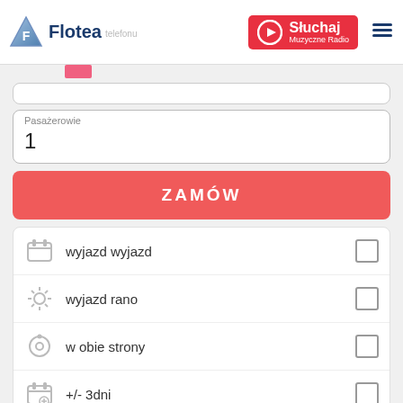Flotea | Sluchaj Muzyczne Radio
Pasażerowie
1
ZAMÓW
wyjazd wyjazd
wyjazd rano
w obie strony
+/- 3dni
paczka